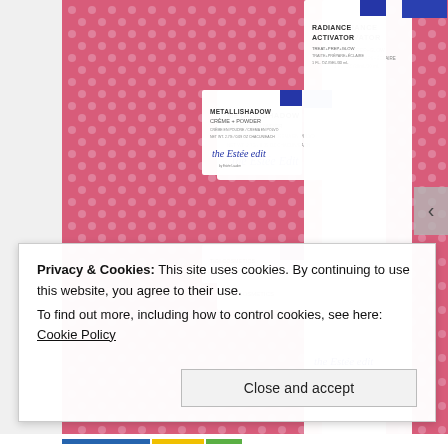[Figure (photo): Cosmetic products (Radiance Activator box, Metallishadow compact, Inside Track Eye Kajal pencil) arranged on a pink polka-dot background. Products are from 'the Estee Edit by Estee Lauder' brand.]
Privacy & Cookies: This site uses cookies. By continuing to use this website, you agree to their use.
To find out more, including how to control cookies, see here: Cookie Policy
Close and accept